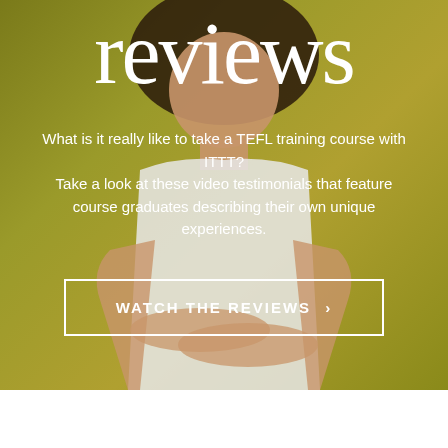[Figure (photo): A woman with curly hair wearing a white sleeveless top, arms crossed, standing against a yellow-olive background. The word 'reviews' is overlaid in large white serif text at the top.]
reviews
What is it really like to take a TEFL training course with ITTT?
Take a look at these video testimonials that feature course graduates describing their own unique experiences.
WATCH THE REVIEWS ›